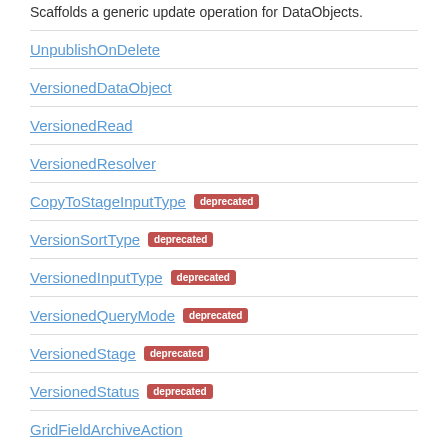Scaffolds a generic update operation for DataObjects.
UnpublishOnDelete
VersionedDataObject
VersionedRead
VersionedResolver
CopyToStageInputType [deprecated]
VersionSortType [deprecated]
VersionedInputType [deprecated]
VersionedQueryMode [deprecated]
VersionedStage [deprecated]
VersionedStatus [deprecated]
GridFieldArchiveAction
This class is a {@link GridField} component that replaces